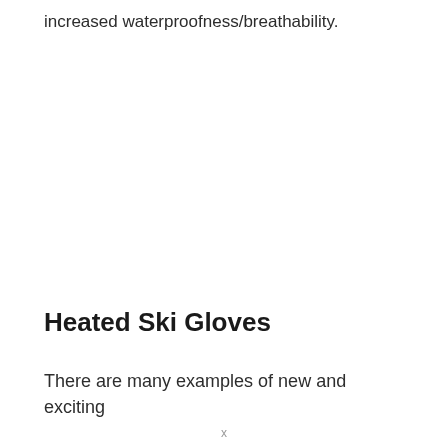increased waterproofness/breathability.
Heated Ski Gloves
There are many examples of new and exciting
x